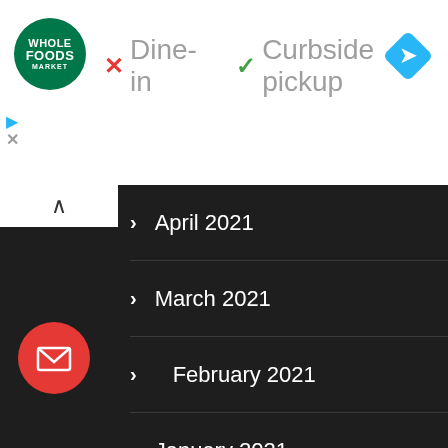[Figure (logo): Whole Foods Market circular green logo]
✗ Dine-in ✓ Curbside pickup
[Figure (other): Blue navigation/directions diamond icon]
April 2021
March 2021
February 2021
January 2021
December 2020
November 2020
October 2020
September 2020